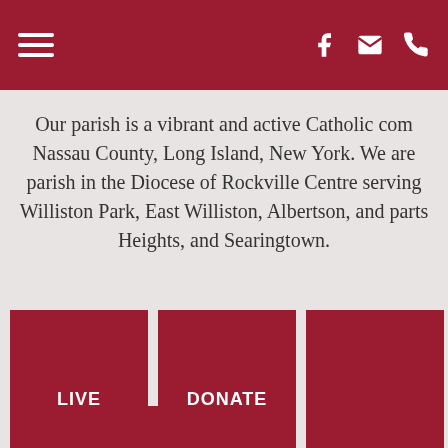Navigation header with hamburger menu and icons
Our parish is a vibrant and active Catholic com Nassau County, Long Island, New York. We are parish in the Diocese of Rockville Centre serving Williston Park, East Williston, Albertson, and parts Heights, and Searingtown.
[Figure (infographic): Red card button labeled LIVE]
[Figure (infographic): Red card button labeled DONATE]
[Figure (infographic): Red card button (partially visible, third card)]
[Figure (infographic): Partial red card at bottom row]
[Figure (infographic): Partial red card at bottom right]